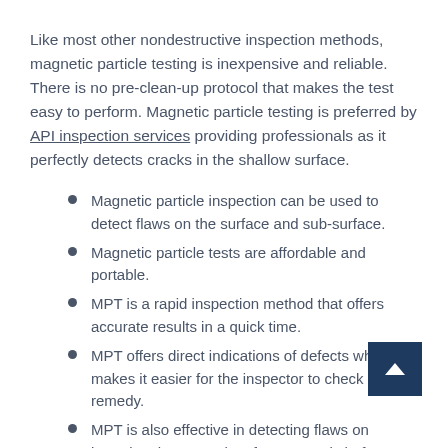Like most other nondestructive inspection methods, magnetic particle testing is inexpensive and reliable. There is no pre-clean-up protocol that makes the test easy to perform. Magnetic particle testing is preferred by API inspection services providing professionals as it perfectly detects cracks in the shallow surface.
Magnetic particle inspection can be used to detect flaws on the surface and sub-surface.
Magnetic particle tests are affordable and portable.
MPT is a rapid inspection method that offers accurate results in a quick time.
MPT offers direct indications of defects which makes it easier for the inspector to check and remedy.
MPT is also effective in detecting flaws on irregular shapes and surfaces. Crankshafts, external splines and connecting rods can be checked through MPT.
Limitations of Magnetic Particle Inspection